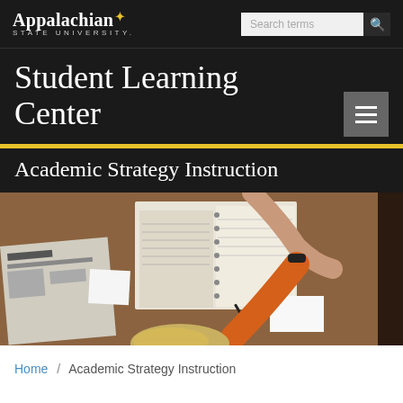Appalachian STATE UNIVERSITY. Search terms
Student Learning Center
Academic Strategy Instruction
[Figure (photo): Overhead view of a student studying at a desk with open notebooks, papers, pens, and a newspaper spread out on a wooden table. Student's hand and arm are visible reaching across the desk.]
Home / Academic Strategy Instruction